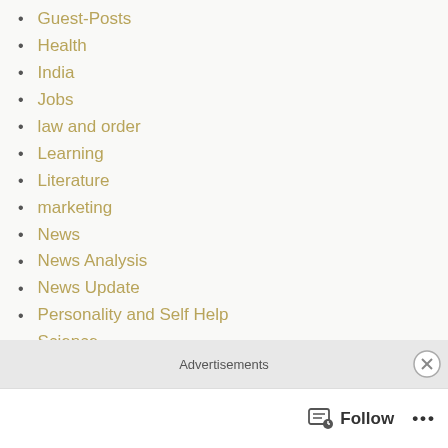Guest-Posts
Health
India
Jobs
law and order
Learning
Literature
marketing
News
News Analysis
News Update
Personality and Self Help
Science
Services
Skill Development
social issues
Sports
Advertisements
Follow ...